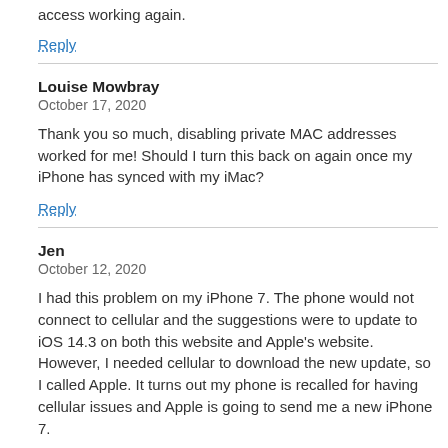access working again.
Reply
Louise Mowbray
October 17, 2020

Thank you so much, disabling private MAC addresses worked for me! Should I turn this back on again once my iPhone has synced with my iMac?
Reply
Jen
October 12, 2020

I had this problem on my iPhone 7. The phone would not connect to cellular and the suggestions were to update to iOS 14.3 on both this website and Apple's website. However, I needed cellular to download the new update, so I called Apple. It turns out my phone is recalled for having cellular issues and Apple is going to send me a new iPhone 7.

If anyone else with an iPhone 7 runs into this issue, call Apple and see if your phone is recalled and can be replaced.